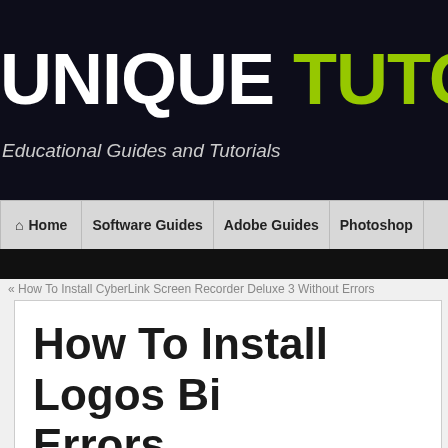UNIQUE TUTORIALS
Educational Guides and Tutorials
Home | Software Guides | Adobe Guides | Photoshop
How To Install CyberLink Screen Recorder Deluxe 3 Without Errors
How To Install Logos Bi Errors